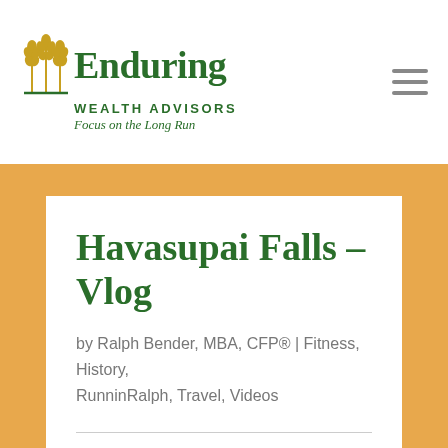[Figure (logo): Enduring Wealth Advisors logo with wheat/grain icon, green text reading 'Enduring WEALTH ADVISORS', tagline 'Focus on the Long Run']
Havasupai Falls – Vlog
by Ralph Bender, MBA, CFP® | Fitness, History, RunninRalph, Travel, Videos